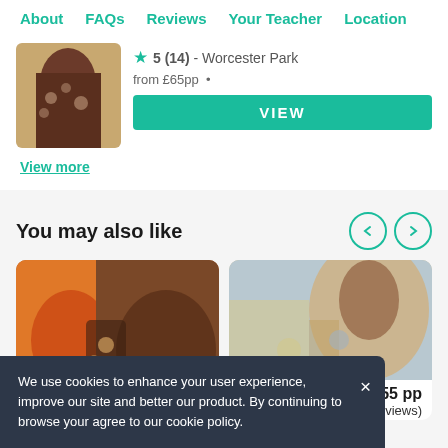About  FAQs  Reviews  Your Teacher  Location
[Figure (photo): Close-up photo of a person with braided hair]
★ 5 (14) - Worcester Park
from £65pp  •
VIEW
View more
You may also like
[Figure (photo): Close-up of hands working on a craft/jewelry item with colorful tiled background]
[Figure (photo): Person with long dark hair working on a painting/art project at a table with supplies]
£55 pp
5 (23 reviews)
We use cookies to enhance your user experience, improve our site and better our product. By continuing to browse your agree to our cookie policy.